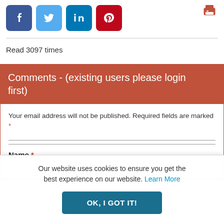[Figure (other): Social share buttons row: Facebook (dark blue), Twitter (light blue), LinkedIn (teal blue), Pinterest (red), and a print icon in the top right corner.]
Read 3097 times
Comments - (existing users please login first)
Your email address will not be published. Required fields are marked *
Name *
Our website uses cookies to ensure you get the best experience on our website. Learn More
OK, I GOT IT!